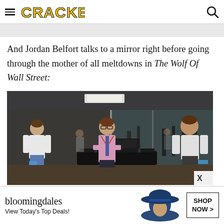CRACKED
And Jordan Belfort talks to a mirror right before going through the mother of all meltdowns in The Wolf Of Wall Street:
[Figure (photo): Movie still from The Wolf of Wall Street showing a man in a pink dress shirt and tie with suspenders on a treadmill in a gym, with mirror reflections showing other men in workout clothes on either side]
[Figure (other): Bloomingdale's advertisement with text 'bloomingdales View Today's Top Deals!' and a woman in a hat, with a 'SHOP NOW >' button]